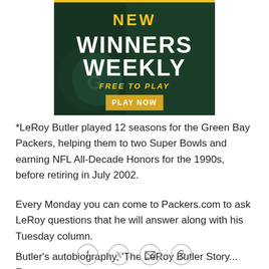[Figure (illustration): Green Bay Packers promotional banner: dark green background with a football player silhouette on the left, text reading NEW WINNERS WEEKLY FREE TO PLAY with a PLAY NOW button]
*LeRoy Butler played 12 seasons for the Green Bay Packers, helping them to two Super Bowls and earning NFL All-Decade Honors for the 1990s, before retiring in July 2002.
Every Monday you can come to Packers.com to ask LeRoy questions that he will answer along with his Tuesday column.
Butler's autobiography, 'The LeRoy Butler Story... From
[Figure (infographic): Social media sharing icons: Facebook, Twitter, Email, and a hyperlink/chain icon, all as circular outline buttons]